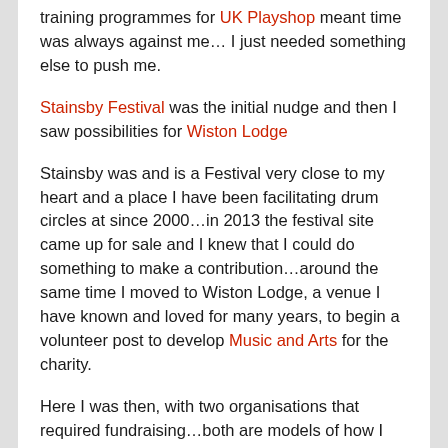training programmes for UK Playshop meant time was always against me… I just needed something else to push me.
Stainsby Festival was the initial nudge and then I saw possibilities for Wiston Lodge
Stainsby was and is a Festival very close to my heart and a place I have been facilitating drum circles at since 2000…in 2013 the festival site came up for sale and I knew that I could do something to make a contribution…around the same time I moved to Wiston Lodge, a venue I have known and loved for many years, to begin a volunteer post to develop Music and Arts for the charity.
Here I was then, with two organisations that required fundraising…both are models of how I believe we can work positively in community… both